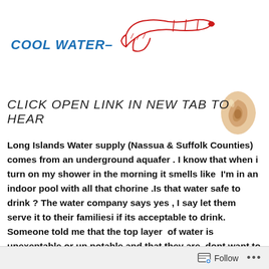COOL WATER–
[Figure (illustration): Red outline drawing of a pointing hand/finger pointing right]
[Figure (illustration): Emoji-style illustration of a human ear (skin-colored)]
CLICK  OPEN LINK  IN  NEW TAB TO HEAR
Long Islands Water supply (Nassua & Suffolk Counties) comes from an underground aquafer . I know that when i turn on my shower in the morning it smells like  I'm in an indoor pool with all that chorine .Is that water safe to drink ? The water company says yes , I say let them serve it to their familiesi if its acceptable to drink. Someone told me that the top layer  of water is unexeptable or un potable and that they are  dont want to drill close to the brakish level.
Follow ...